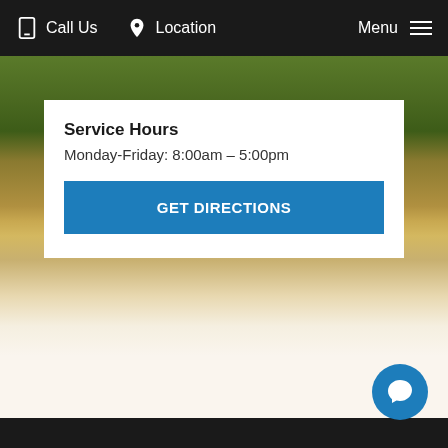Call Us   Location   Menu
Service Hours
Monday-Friday: 8:00am – 5:00pm
GET DIRECTIONS
[Figure (photo): Background nature/landscape photo with green grass and golden tones fading into white]
[Figure (illustration): Chat bubble icon button (blue circle with speech bubble)]